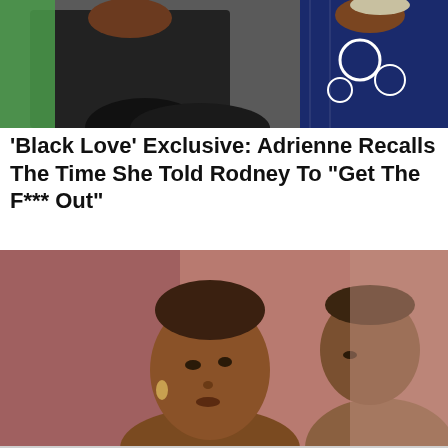[Figure (photo): Two people posing together — a man in a black shirt and a woman in a blue and white patterned dress, in front of a green backdrop]
'Black Love' Exclusive: Adrienne Recalls The Time She Told Rodney To “Get The F*** Out”
[Figure (photo): A woman and a man sitting close together in a warm indoor setting, appearing to be in conversation. A 'CLOSE >' button is visible in the bottom-right corner of the image.]
[Figure (photo): Partially visible third image at the bottom, showing blurred figures against a light gray/white background]